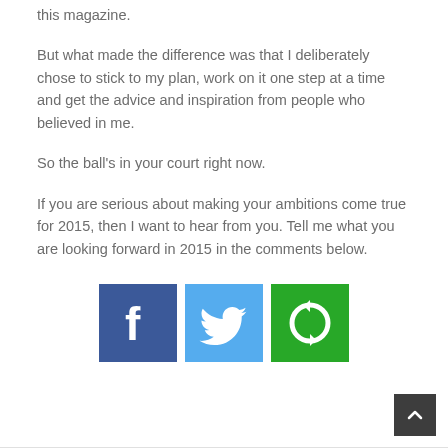this magazine.
But what made the difference was that I deliberately chose to stick to my plan, work on it one step at a time and get the advice and inspiration from people who believed in me.
So the ball's in your court right now.
If you are serious about making your ambitions come true for 2015, then I want to hear from you. Tell me what you are looking forward in 2015 in the comments below.
[Figure (infographic): Social sharing icons: Facebook (blue square with white f), Twitter (light blue square with white bird), and a green square with a white circular arrow/share icon.]